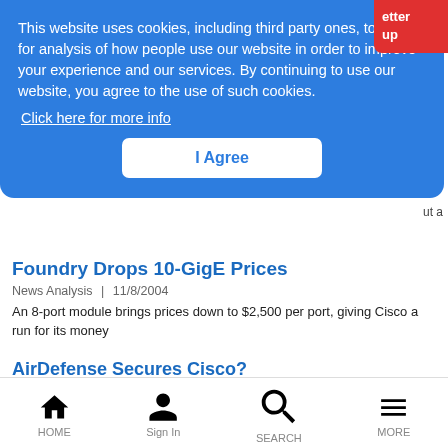This website uses cookies, including third party ones, to allow for analysis of how people people use our website in order to improve your experience and our services. By continuing to use our website, you agree to the use of such cookies.
Click here for more info
I Agree
Foundry Drops 10-GigE Prices
News Analysis | 11/8/2004
An 8-port module brings prices down to $2,500 per port, giving Cisco a run for its money
AirDefense Secures Cisco?
HOME   Sign In   SEARCH   MORE